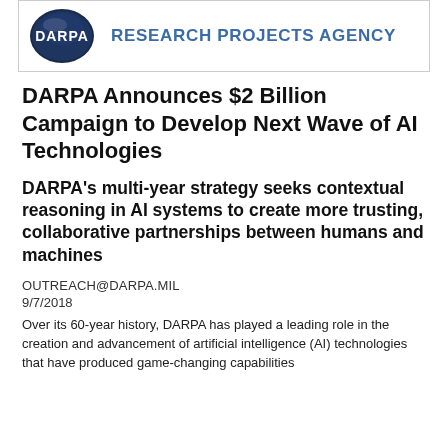[Figure (logo): DARPA logo: circular dark blue badge with 'DARPA' text, beside text 'RESEARCH PROJECTS AGENCY' in blue]
DARPA Announces $2 Billion Campaign to Develop Next Wave of AI Technologies
DARPA's multi-year strategy seeks contextual reasoning in AI systems to create more trusting, collaborative partnerships between humans and machines
OUTREACH@DARPA.MIL
9/7/2018
Over its 60-year history, DARPA has played a leading role in the creation and advancement of artificial intelligence (AI) technologies that have produced game-changing capabilities